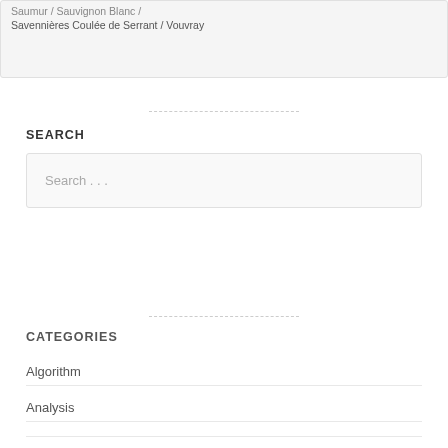Saumur / Sauvignon Blanc / Savennières Coulée de Serrant / Vouvray
SEARCH
Search . . .
CATEGORIES
Algorithm
Analysis